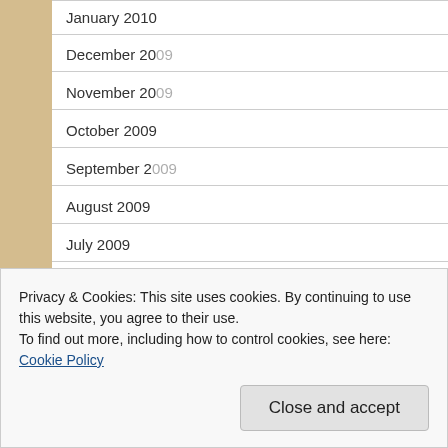January 2010
December 20…
November 20…
October 2009
September 2…
August 2009
July 2009
June 2009
May 2009
April 2009
March 2009
February 200…
January 2009
20…
20…
08…
Privacy & Cookies: This site uses cookies. By continuing to use this website, you agree to their use.
To find out more, including how to control cookies, see here: Cookie Policy
Close and accept